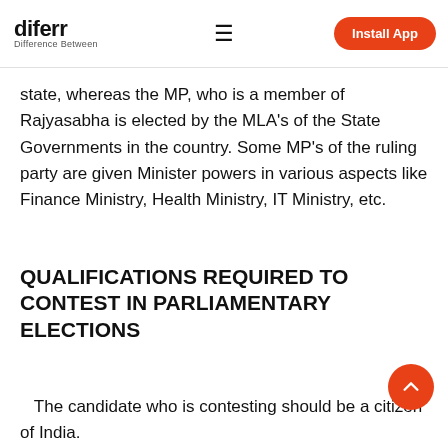diferr Difference Between | Install App
state, whereas the MP, who is a member of Rajyasabha is elected by the MLA's of the State Governments in the country. Some MP's of the ruling party are given Minister powers in various aspects like Finance Ministry, Health Ministry, IT Ministry, etc.
QUALIFICATIONS REQUIRED TO CONTEST IN PARLIAMENTARY ELECTIONS
The candidate who is contesting should be a citizen of India.
He should have attained 25 years in the case of